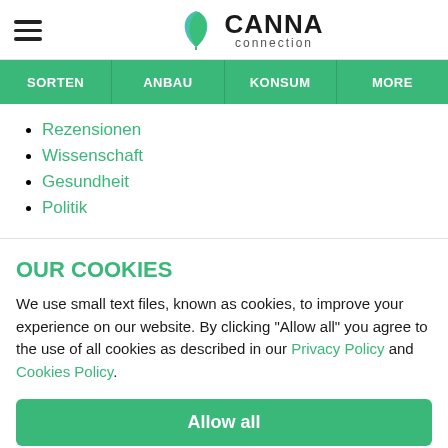CANNA connection
SORTEN | ANBAU | KONSUM | MORE
Rezensionen
Wissenschaft
Gesundheit
Politik
OUR COOKIES
We use small text files, known as cookies, to improve your experience on our website. By clicking "Allow all" you agree to the use of all cookies as described in our Privacy Policy and Cookies Policy.
Allow all
Reject all
Manage cookies